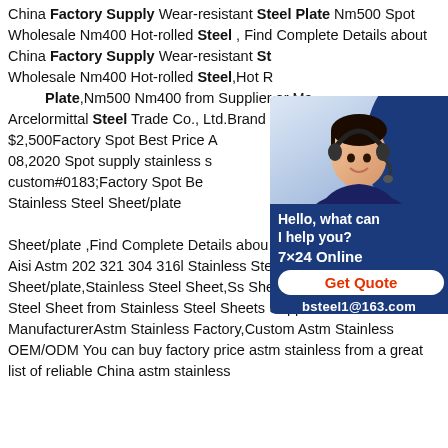China Factory Supply Wear-resistant Steel Plate Nm500 Spot Wholesale Nm400 Hot-rolled Steel , Find Complete Details about China Factory Supply Wear-resistant Steel Plate Nm500 Spot Wholesale Nm400 Hot-rolled Steel,Hot Rolled Wear Resistant Steel Plate,Nm500 Nm400 from Supplier or Manufacturer-Arcelormittal Steel Trade Co., Ltd.Brand $2,000 - $2,500Factory Spot Best Price Aisi Astm 202 321 304 316l Feb 08,2020 Spot supply stainless steel plates processed custom#0183;Factory Spot Best Price Aisi Astm 202 321 304 316l Stainless Steel Sheet/plate ,Find Complete Details about Factory Spot Best Price Aisi Astm 202 321 304 316l Stainless Steel Sheet/plate ,Stainless Steel Sheet ,Ss Sheet/plate ,304 Stainless Steel Sheet from Stainless Steel Sheets Supplier or ManufacturerAstm Stainless Factory,Custom Astm Stainless OEM/ODM You can buy factory price astm stainless from a great list of reliable China astm stainless
[Figure (other): Chat widget with a customer service representative photo, 'Hello, what can I help you?' text, '7x24 Online' label, 'Get Quote' button, and 'bsteel1@163.com' email address on a dark blue background.]